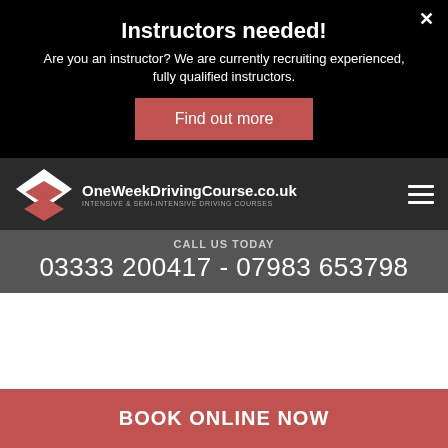Instructors needed!
Are you an instructor? We are currently recruiting experienced, fully qualified instructors.
Find out more
[Figure (logo): OneWeekDrivingCourse.co.uk logo — diamond/chevron shape in white and red, with site name and tagline INTENSIVE & SEMI-INTENSIVE DRIVING COURSES]
CALL US TODAY
03333 200417 - 07983 653798
BOOK ONLINE NOW